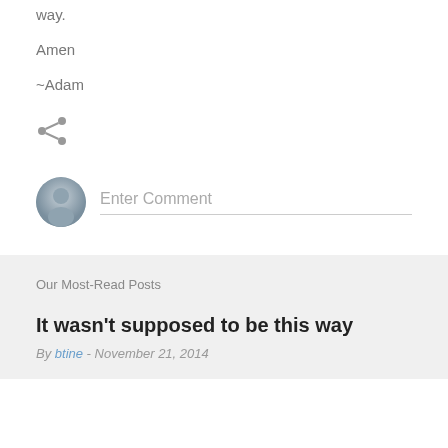way.
Amen
~Adam
[Figure (other): Share icon (social sharing button)]
[Figure (other): User avatar circle with silhouette and Enter Comment input field]
Our Most-Read Posts
It wasn't supposed to be this way
By btine - November 21, 2014